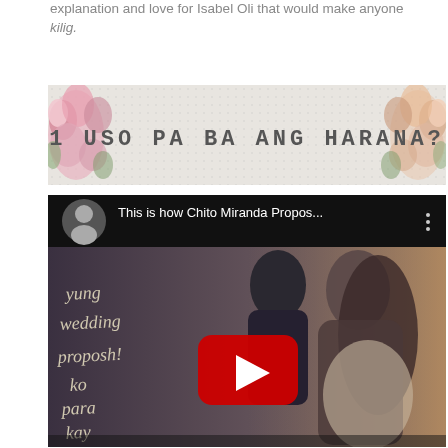explanation and love for Isabel Oli that would make anyone kilig.
[Figure (illustration): Banner image with floral decoration and text '1 USO PA BA ANG HARANA?' in typewriter-style font on a light grey patterned background with pink flowers on left and right.]
[Figure (screenshot): YouTube video embed showing Chito Miranda proposal video thumbnail. Title reads 'This is how Chito Miranda Propos...' with a YouTube play button overlay. The thumbnail shows a couple about to kiss with handwritten text overlay reading 'yung wedding proposh! ko para kay Neri'.]